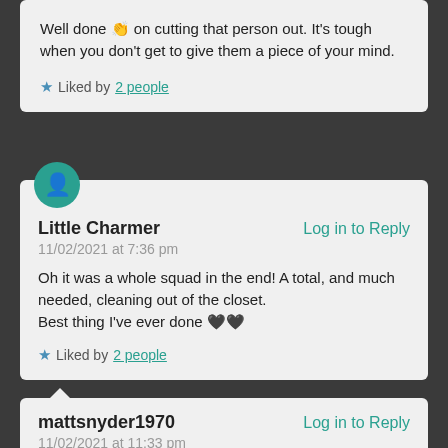Well done 👏 on cutting that person out. It's tough when you don't get to give them a piece of your mind.
★ Liked by 2 people
Little Charmer
Log in to Reply
11/02/2021 at 7:36 pm
Oh it was a whole squad in the end! A total, and much needed, cleaning out of the closet.
Best thing I've ever done 🖤🖤
★ Liked by 2 people
mattsnyder1970
Log in to Reply
11/02/2021 at 11:33 pm